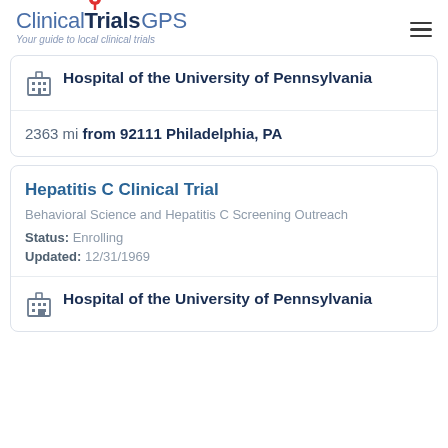ClinicalTrials GPS — Your guide to local clinical trials
Hospital of the University of Pennsylvania
2363 mi from 92111 Philadelphia, PA
Hepatitis C Clinical Trial
Behavioral Science and Hepatitis C Screening Outreach
Status: Enrolling
Updated: 12/31/1969
Hospital of the University of Pennsylvania